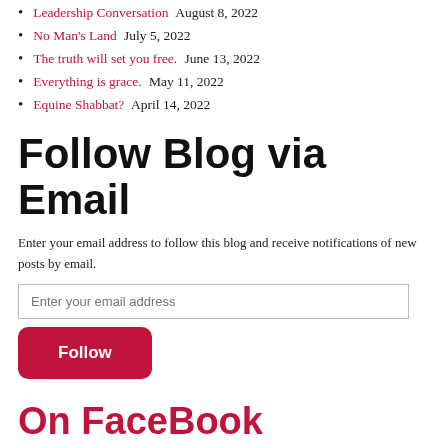Leadership Conversation August 8, 2022
No Man's Land July 5, 2022
The truth will set you free. June 13, 2022
Everything is grace. May 11, 2022
Equine Shabbat? April 14, 2022
Follow Blog via Email
Enter your email address to follow this blog and receive notifications of new posts by email.
Enter your email address
Follow
On FaceBook